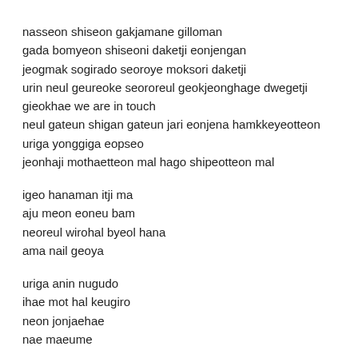nasseon shiseon gakjamane gilloman
gada bomyeon shiseoni daketji eonjengan
jeogmak sogirado seoroye moksori daketji
urin neul geureoke seororeul geokjeonghage dwegetji
gieokhae we are in touch
neul gateun shigan gateun jari eonjena hamkkeyeotteon
uriga yonggiga eopseo
jeonhaji mothaetteon mal hago shipeotteon mal
igeo hanaman itji ma
aju meon eoneu bam
neoreul wirohal byeol hana
ama nail geoya
uriga anin nugudo
ihae mot hal keugiro
neon jonjaehae
nae maeume
I'll be your home
Ooh oooh I'll be your home